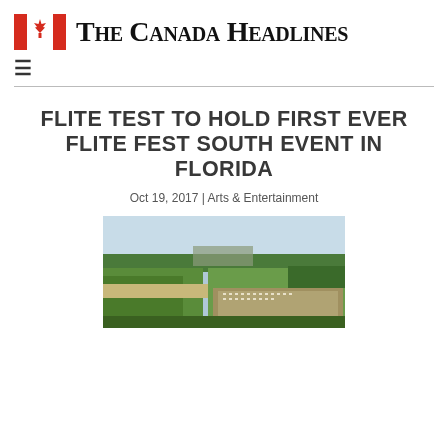The Canada Headlines
FLITE TEST TO HOLD FIRST EVER FLITE FEST SOUTH EVENT IN FLORIDA
Oct 19, 2017 | Arts & Entertainment
[Figure (photo): Aerial view of Flite Fest event grounds showing green fields, a runway area, and parked vehicles/tents with trees and buildings in the background]